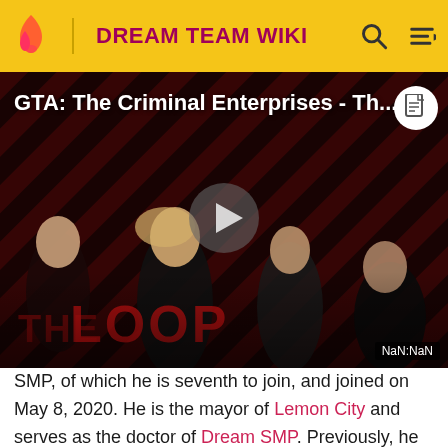DREAM TEAM WIKI
[Figure (screenshot): Video thumbnail for 'GTA: The Criminal Enterprises - Th...' showing characters from The Loop on a dark red diagonal striped background with a play button in the center and NaN:NaN timestamp]
SMP, of which he is seventh to join, and joined on May 8, 2020. He is the mayor of Lemon City and serves as the doctor of Dream SMP. Previously, he served the role of Manberg's doctor and architect and was once a member of the Eggpire. He was also Schlatt's ally via the Lemon